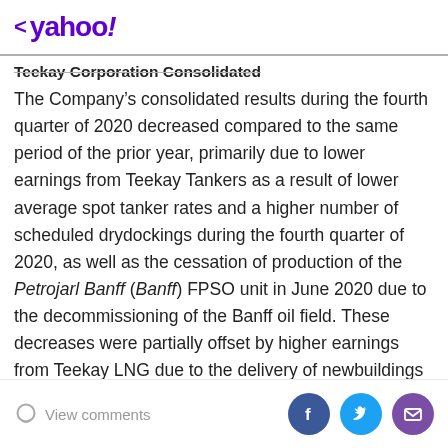< yahoo!
Teekay Corporation Consolidated
The Company's consolidated results during the fourth quarter of 2020 decreased compared to the same period of the prior year, primarily due to lower earnings from Teekay Tankers as a result of lower average spot tanker rates and a higher number of scheduled drydockings during the fourth quarter of 2020, as well as the cessation of production of the Petrojarl Banff (Banff) FPSO unit in June 2020 due to the decommissioning of the Banff oil field. These decreases were partially offset by higher earnings from Teekay LNG due to the delivery of newbuildings and lower interest expense across Teekay due to both debt reduction over the past year
View comments